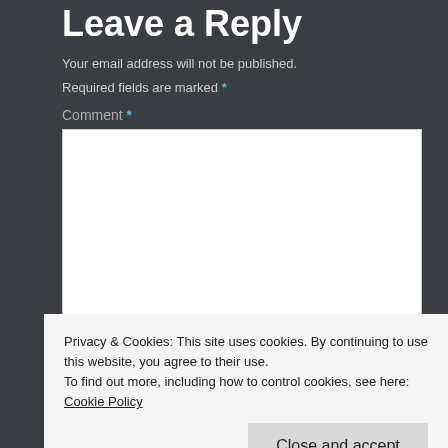Leave a Reply
Your email address will not be published.
Required fields are marked *
Comment *
[Figure (other): Empty comment textarea input box]
Privacy & Cookies: This site uses cookies. By continuing to use this website, you agree to their use.
To find out more, including how to control cookies, see here: Cookie Policy
Close and accept
Email *